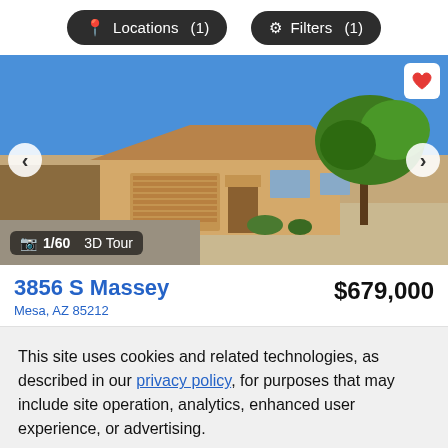Locations (1)    Filters (1)
[Figure (photo): Exterior photo of a single-story tan stucco house with terracotta roof tiles, large two-car garage, decorative tree on right side, blue sky, gravel landscaping in front. Navigation arrows on left and right. Photo counter badge showing 1/60 and 3D Tour label.]
3856 S Massey
Mesa, AZ 85212
$679,000
This site uses cookies and related technologies, as described in our privacy policy, for purposes that may include site operation, analytics, enhanced user experience, or advertising.
Manage Preferences    Accept